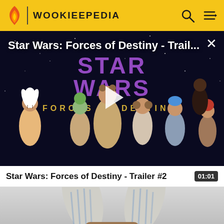WOOKIEEPEDIA
[Figure (screenshot): Star Wars: Forces of Destiny animated trailer screenshot showing animated characters including Rey, Ahsoka Tano, Hera Syndulla, and others with the Star Wars Forces of Destiny logo. A play button overlay is visible in the center. Title overlay reads 'Star Wars: Forces of Destiny - Trail...' with an X close button.]
Star Wars: Forces of Destiny - Trailer #2
01:01
[Figure (screenshot): Close-up photo of Ahsoka Tano costume/mask headpiece showing white and blue striped lekku (head tails) and a brown/tan face mask with white diamond pattern.]